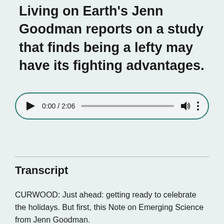Living on Earth's Jenn Goodman reports on a study that finds being a lefty may have its fighting advantages.
[Figure (other): Audio player widget showing 0:00 / 2:06 with play button, progress bar, volume icon, and menu dots]
Transcript
CURWOOD: Just ahead: getting ready to celebrate the holidays. But first, this Note on Emerging Science from Jenn Goodman.
[SCIENCE NOTE THEME]
GOODMAN: In what you might call revenge of the